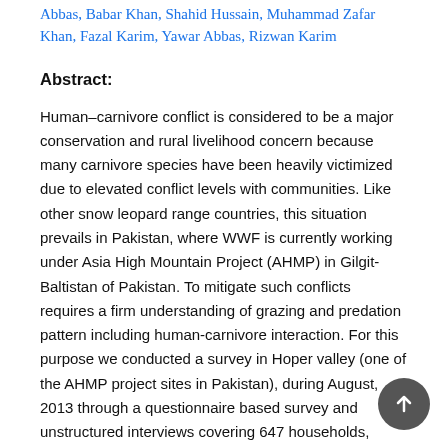Abbas, Babar Khan, Shahid Hussain, Muhammad Zafar Khan, Fazal Karim, Yawar Abbas, Rizwan Karim
Abstract:
Human-carnivore conflict is considered to be a major conservation and rural livelihood concern because many carnivore species have been heavily victimized due to elevated conflict levels with communities. Like other snow leopard range countries, this situation prevails in Pakistan, where WWF is currently working under Asia High Mountain Project (AHMP) in Gilgit-Baltistan of Pakistan. To mitigate such conflicts requires a firm understanding of grazing and predation pattern including human-carnivore interaction. For this purpose we conducted a survey in Hoper valley (one of the AHMP project sites in Pakistan), during August, 2013 through a questionnaire based survey and unstructured interviews covering 647 households,